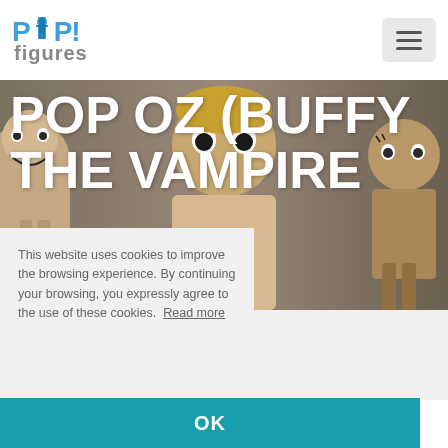[Figure (logo): POP! figures logo in blue and grey]
[Figure (photo): Funko POP figures styled as Buffy the Vampire Slayer characters on grey background]
POP OZ (BUFFY THE VAMPIRE
This website uses cookies to improve the browsing experience. By continuing your browsing, you expressly agree to the use of these cookies.  Read more
OK